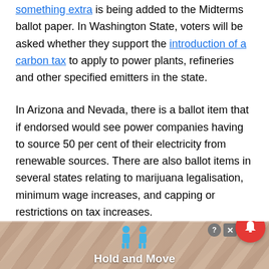something extra is being added to the Midterms ballot paper. In Washington State, voters will be asked whether they support the introduction of a carbon tax to apply to power plants, refineries and other specified emitters in the state.
In Arizona and Nevada, there is a ballot item that if endorsed would see power companies having to source 50 per cent of their electricity from renewable sources. There are also ballot items in several states relating to marijuana legalisation, minimum wage increases, and capping or restrictions on tax increases.
[Figure (screenshot): Advertisement banner at the bottom of the page showing a game called 'Hold and Move' with blue human figures and a striped tan/brown background. Includes notification bell icon and close button.]